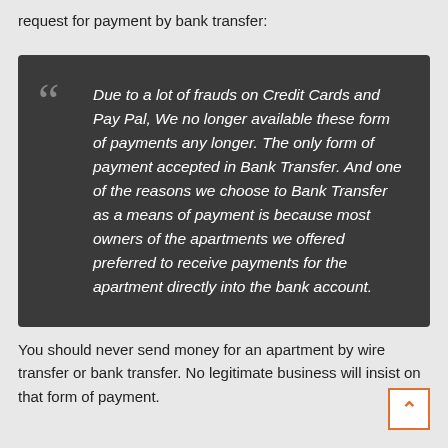request for payment by bank transfer:
Due to a lot of frauds on Credit Cards and Pay Pal, We no longer available these form of payments any longer. The only form of payment accepted in Bank Transfer. And one of the reasons we choose to Bank Transfer as a means of payment is because most owners of the apartments we offered preferred to receive payments for the apartment directly into the bank account.
You should never send money for an apartment by wire transfer or bank transfer. No legitimate business will insist on that form of payment.